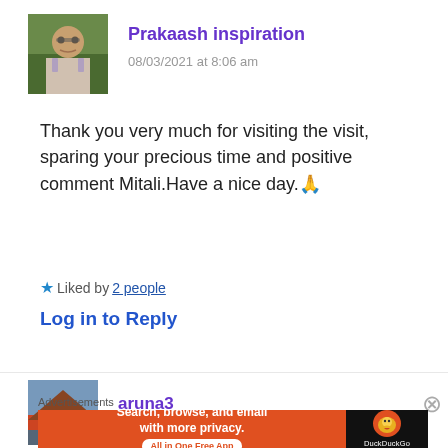[Figure (photo): Profile photo of a man with glasses, light shirt, hand near chin, against green background]
Prakaash inspiration
08/03/2021 at 8:06 am
Thank you very much for visiting the visit, sparing your precious time and positive comment Mitali.Have a nice day.🙏
★ Liked by 2 people
Log in to Reply
[Figure (photo): Profile photo of aruna3 showing mountains/landscape]
aruna3
Advertisements
[Figure (other): DuckDuckGo advertisement banner: Search, browse, and email with more privacy. All in One Free App]